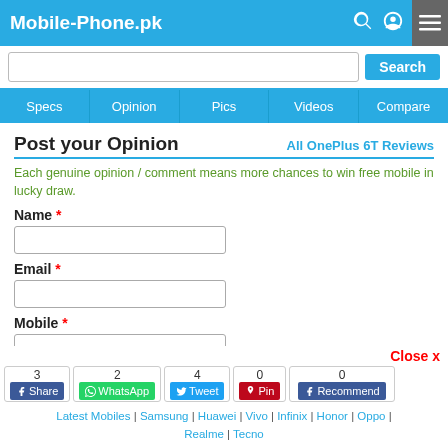Mobile-Phone.pk
Search
Specs | Opinion | Pics | Videos | Compare
Post your Opinion
All OnePlus 6T Reviews
Each genuine opinion / comment means more chances to win free mobile in lucky draw.
Name *
Email *
Mobile *
Comment Type:
Close x
3 Share | 2 WhatsApp | 4 Tweet | 0 Pin | 0 Recommend
Latest Mobiles | Samsung | Huawei | Vivo | Infinix | Honor | Oppo | Realme | Tecno